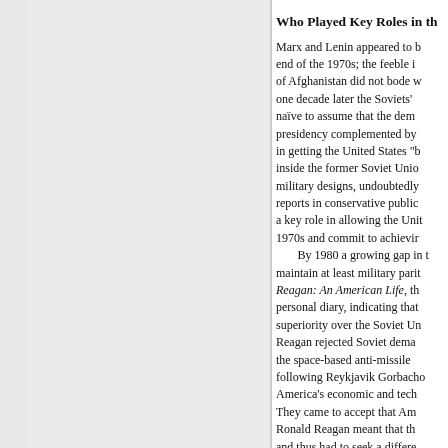Who Played Key Roles in th...
Marx and Lenin appeared to b... end of the 1970s; the feeble i... of Afghanistan did not bode w... one decade later the Soviets'... naïve to assume that the dem... presidency complemented by... in getting the United States "b... inside the former Soviet Unio... military designs, undoubtedly... reports in conservative public... a key role in allowing the Unit... 1970s and commit to achievir... By 1980 a growing gap in t... maintain at least military parit... Reagan: An American Life, th... personal diary, indicating that... superiority over the Soviet Un... Reagan rejected Soviet dema... the space-based anti-missile ... following Reykjavik Gorbacho... America's economic and tech... They came to accept that Am... Ronald Reagan meant that th... and thus had to seek a differe...